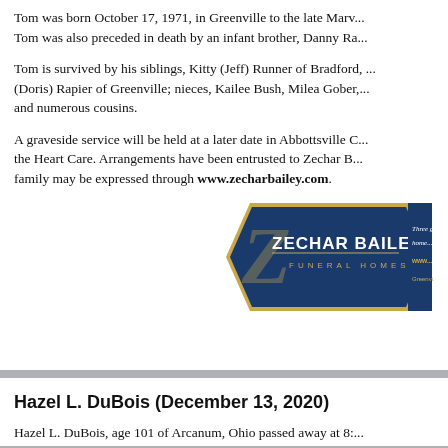Tom was born October 17, 1971, in Greenville to the late Marv... Tom was also preceded in death by an infant brother, Danny Ra...
Tom is survived by his siblings, Kitty (Jeff) Runner of Bradford, ... (Doris) Rapier of Greenville; nieces, Kailee Bush, Milea Gober, ... and numerous cousins.
A graveside service will be held at a later date in Abbottsville C... the Heart Care. Arrangements have been entrusted to Zechar B... family may be expressed through www.zecharbailey.com.
[Figure (logo): Zechar Bailey Funeral Homes logo with hexagonal gold border, dark blue background, gold script Z, white text reading ZECHAR BAILEY FUNERAL HOMES, and tagline Three generations... home... www... Greenvi...]
Hazel L. DuBois (December 13, 2020)
Hazel L. DuBois, age 101 of Arcanum, Ohio passed away at 8:... home in New Albany, Ohio. Hazel was born August 9, 1919 in...